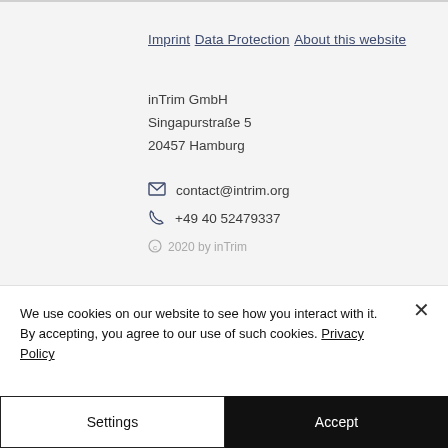Imprint
Data Protection
About this website
inTrim GmbH
Singapurstraße 5
20457 Hamburg
contact@intrim.org
+49 40 52479337
© 2020 by inTrim
We use cookies on our website to see how you interact with it. By accepting, you agree to our use of such cookies. Privacy Policy
Settings
Accept